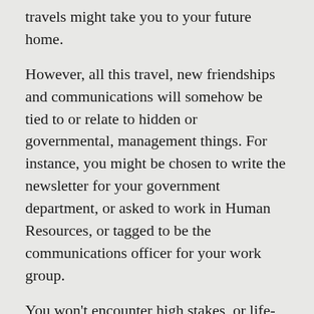travels might take you to your future home.
However, all this travel, new friendships and communications will somehow be tied to or relate to hidden or governmental, management things. For instance, you might be chosen to write the newsletter for your government department, or asked to work in Human Resources, or tagged to be the communications officer for your work group.
You won't encounter high stakes, or life-and-death choices, but you will be busy, and could find that the rush to get things done can fry your nerves some days. If so, stop, relax, get outdoors, exercise. Protect your feet, ankles and calves – wear sturdy shoes.
With Neptune in your Sun sign, many of you are reaching a peak in accomplishment, relationships and